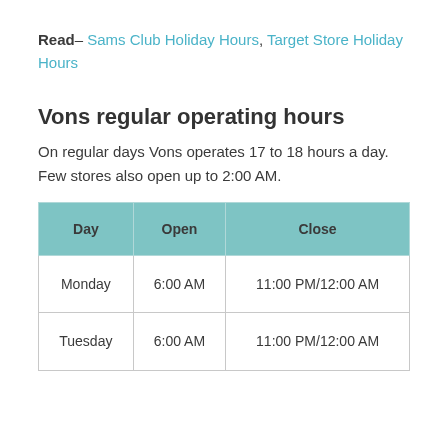Read– Sams Club Holiday Hours, Target Store Holiday Hours
Vons regular operating hours
On regular days Vons operates 17 to 18 hours a day. Few stores also open up to 2:00 AM.
| Day | Open | Close |
| --- | --- | --- |
| Monday | 6:00 AM | 11:00 PM/12:00 AM |
| Tuesday | 6:00 AM | 11:00 PM/12:00 AM |